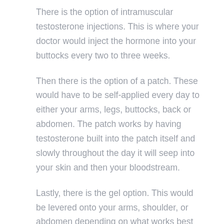There is the option of intramuscular testosterone injections. This is where your doctor would inject the hormone into your buttocks every two to three weeks.
Then there is the option of a patch. These would have to be self-applied every day to either your arms, legs, buttocks, back or abdomen. The patch works by having testosterone built into the patch itself and slowly throughout the day it will seep into your skin and then your bloodstream.
Lastly, there is the gel option. This would be levered onto your arms, shoulder, or abdomen depending on what works best with your body and comfort. Like the patches, these will work into your skin and then get